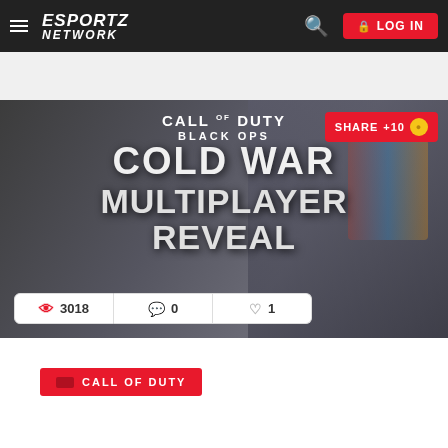ESPORTZ NETWORK — LOG IN
[Figure (screenshot): Call of Duty Black Ops Cold War Multiplayer Reveal hero image with soldier in background, showing view count 3018, comments 0, likes 1]
CALL OF DUTY